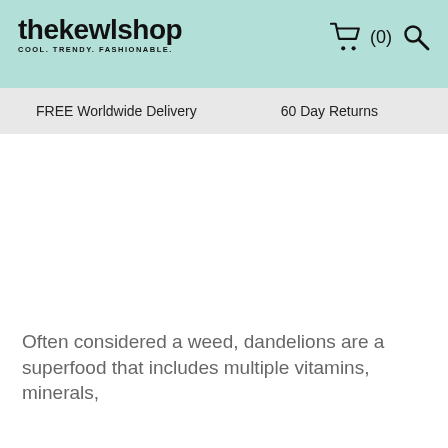[Figure (logo): thekewlshop logo with tagline COOL. TRENDY. FASHIONABLE. in mint/teal nav bar, with shopping cart icon showing (0) and search icon on the right]
FREE Worldwide Delivery    60 Day Returns
Often considered a weed, dandelions are a superfood that includes multiple vitamins, minerals,